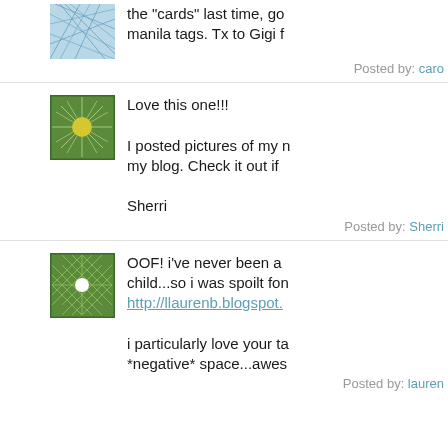the "cards" last time, go manila tags. Tx to Gigi f
Posted by: caro
[Figure (illustration): Green starburst/sunburst avatar icon with yellow center circle on white background]
Love this one!!!

I posted pictures of my n my blog. Check it out if

Sherri
Posted by: Sherri
[Figure (illustration): Green geometric lattice/grid pattern avatar icon with white center star on white background]
OOF! i've never been a child...so i was spoilt fon
http://llaurenb.blogspot.

i particularly love your ta *negative* space...awes
Posted by: lauren